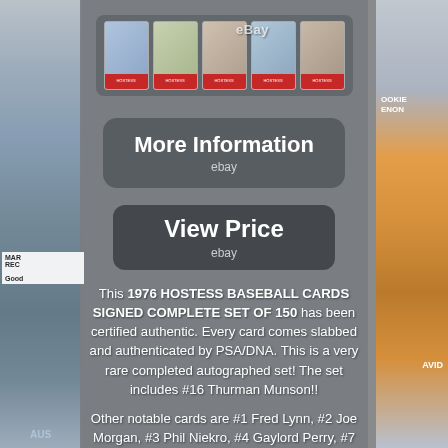[Figure (photo): eBay listing page showing 1976 Hostess Baseball Cards - top portion shows 5 graded baseball cards in a strip, with sports cards collage visible on left and right sides. Contains 'More Information' and 'View Price' buttons with eBay branding.]
This 1976 HOSTESS BASEBALL CARDS SIGNED COMPLETE SET OF 150 has been certified authentic. Every card comes slabbed and authenticated by PSA/DNA. This is a very rare completed autographed set! The set includes #16 Thurman Munson!!
Other notable cards are #1 Fred Lynn, #2 Joe Morgan, #3 Phil Niekro, #4 Gaylord Perry, #7 Lou Brock, #11 Robin Yount, #18 Bobby Bonds,